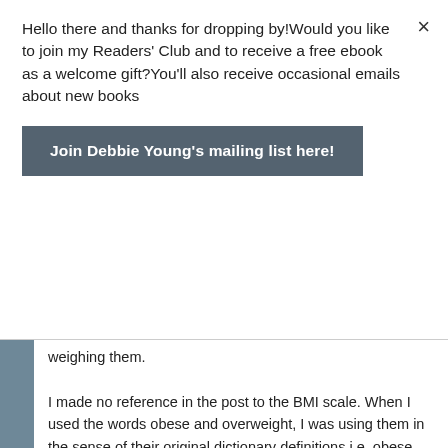Hello there and thanks for dropping by!Would you like to join my Readers' Club and to receive a free ebook as a welcome gift?You'll also receive occasional emails about new books
Join Debbie Young's mailing list here!
weighing them.
I made no reference in the post to the BMI scale. When I used the words obese and overweight, I was using them in the sense of their original dictionary definitions i.e. obese meaning very overweight and overweight meaning weighing more than is considered healthy (which will vary according to culture and practice all over the world). Unfortunately the BMI scale seems to have hijacked these words to the extent that they're now in many people's minds inextricably associated with specific